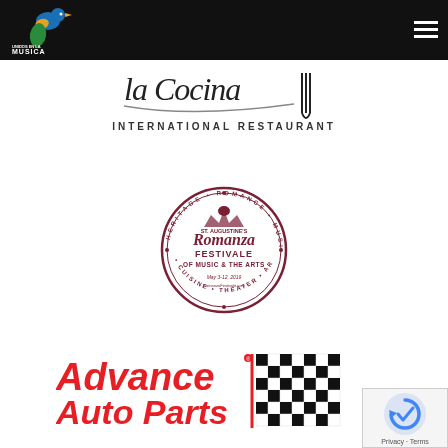[Figure (logo): Unidos en la Musica - A Latin American Festival logo with bird on dark navbar, plus hamburger menu icon]
[Figure (logo): La Cocina International Restaurant logo - handwritten style text with decorative underline]
[Figure (logo): St. Augustine's Romanza Festivale of Music & The Arts circular badge seal, May 3-12 2019]
[Figure (logo): Advance Auto Parts logo with checkered flag graphic]
[Figure (logo): Google reCAPTCHA badge with Privacy and Terms text]